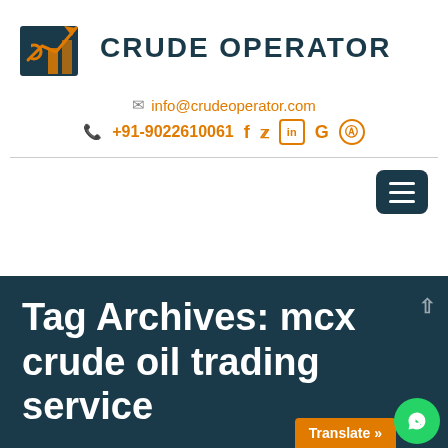[Figure (logo): Crude Operator logo with bar chart and upward arrow icon in dark teal and orange, next to bold dark text CRUDE OPERATOR]
✉ info@crudeoperator.com
📞 +91-9022610061  f  🐦  in  G  📷
[Figure (other): Hamburger menu button (three horizontal white lines on dark teal rounded rectangle)]
Tag Archives: mcx crude oil trading service
Translate »